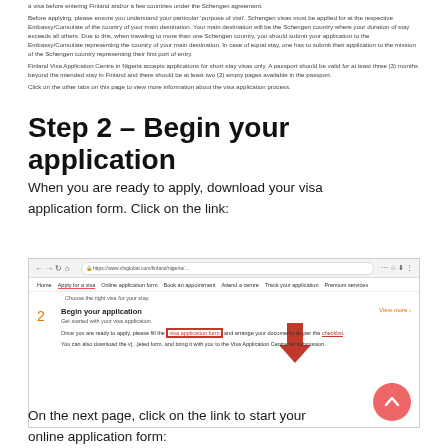a visa before entering Finland and/or a few countries under the Schengen agreement.

Before applying, please ensure you understand your particular 'purpose of visit'. Schengen visas must be applied for at the respective Embassy/Consulate of the country of your main destination. Your main destination will be the Schengen country where your duration of stay exceeds all others. Due to this, when traveling to more than one Schengen country, you should submit your application to the Embassy/Consulate representing the country of your main destination. In case of equal stay, one has to submit their application to the mission of the Schengen country representing their first port of entry.

Finland Visa Application Centre in Nigeria accepts applications for short stay visas only. A passport should be valid for at least three (3) months beyond the intended stay in Finland and there should be at least two (2) empty pages available in the passport.

Click on the other tabs on this page to view more information about the visa application process.
Step 2 – Begin your application
When you are ready to apply, download your visa application form. Click on the link:
[Figure (screenshot): Screenshot of a website showing a browser with navigation bar, site menu including 'Apply for a visa', 'Online application form', 'Book an appointment', 'Attend a centre', 'Track your application', 'Premium services'. Section 2 'Begin your application' is shown with a red downward arrow pointing to a highlighted red-boxed link 'visa application form' in text 'Once you are ready to apply, please fill the visa application form and arrange your documents as per the checklist.']
On the next page, click on the link to start your online application form: